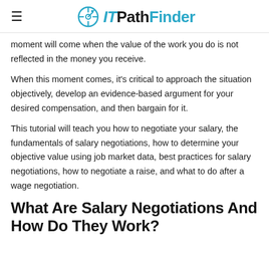IT PathFinder
moment will come when the value of the work you do is not reflected in the money you receive.
When this moment comes, it's critical to approach the situation objectively, develop an evidence-based argument for your desired compensation, and then bargain for it.
This tutorial will teach you how to negotiate your salary, the fundamentals of salary negotiations, how to determine your objective value using job market data, best practices for salary negotiations, how to negotiate a raise, and what to do after a wage negotiation.
What Are Salary Negotiations And How Do They Work?